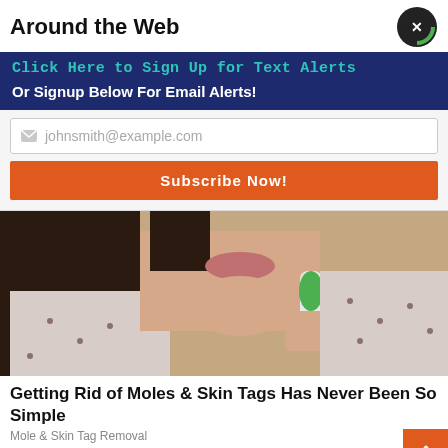Around the Web
Click Here to Sign Up for Text Alerts
Or Signup Below For Email Alerts!
johnsmith@example.com
Subscribe Now!
[Figure (photo): Woman holding a green electric toothbrush or device near her chin/face, wearing a light floral blouse, dark hair]
Getting Rid of Moles & Skin Tags Has Never Been So Simple
Mole & Skin Tag Removal
[Figure (photo): Bottom partial image showing what appears to be water bottles or containers on shelves]